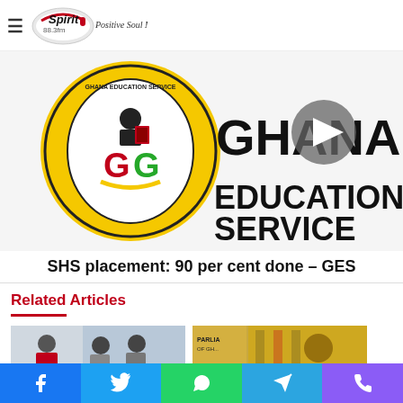Spirit 88.3fm — Positive Soul Music
[Figure (screenshot): Ghana Education Service logo and text on yellow background with play button overlay]
SHS placement: 90 per cent done – GES
Related Articles
[Figure (photo): Two related article thumbnail images]
Social share bar: Facebook, Twitter, WhatsApp, Telegram, Phone